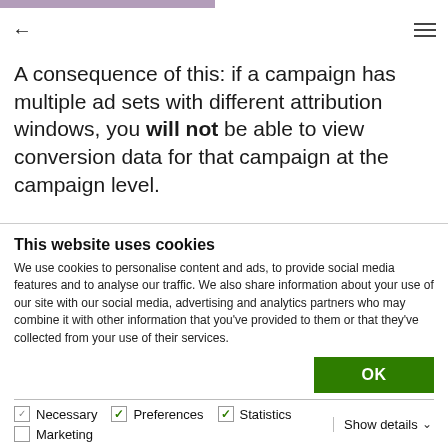A consequence of this: if a campaign has multiple ad sets with different attribution windows, you will not be able to view conversion data for that campaign at the campaign level.
This website uses cookies
We use cookies to personalise content and ads, to provide social media features and to analyse our traffic. We also share information about your use of our site with our social media, advertising and analytics partners who may combine it with other information that you've provided to them or that they've collected from your use of their services.
OK
Necessary   Preferences   Statistics   Marketing   Show details